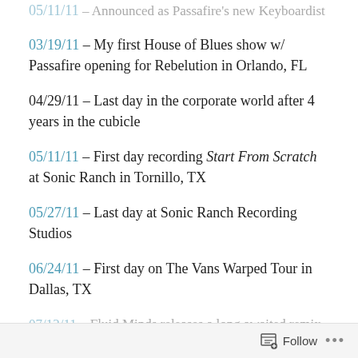03/11/11 – Announced as Passafire's new Keyboardist
03/19/11 – My first House of Blues show w/ Passafire opening for Rebelution in Orlando, FL
04/29/11 – Last day in the corporate world after 4 years in the cubicle
05/11/11 – First day recording Start From Scratch at Sonic Ranch in Tornillo, TX
05/27/11 – Last day at Sonic Ranch Recording Studios
06/24/11 – First day on The Vans Warped Tour in Dallas, TX
07/12/11 – Fluid Minds releases a long awaited remix
Follow